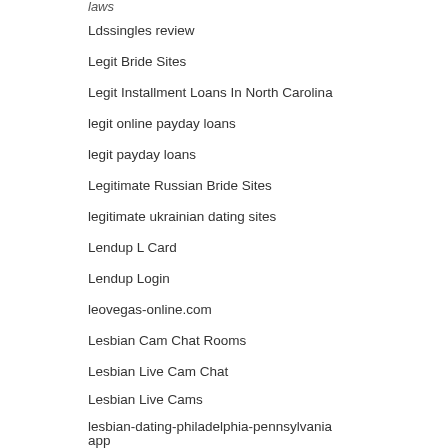laws
Ldssingles review
Legit Bride Sites
Legit Installment Loans In North Carolina
legit online payday loans
legit payday loans
Legitimate Russian Bride Sites
legitimate ukrainian dating sites
Lendup L Card
Lendup Login
leovegas-online.com
Lesbian Cam Chat Rooms
Lesbian Live Cam Chat
Lesbian Live Cams
lesbian-dating-philadelphia-pennsylvania app